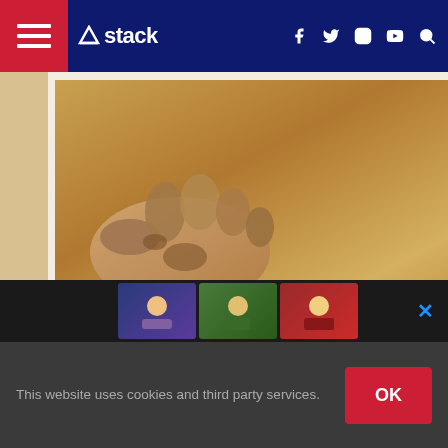stack (navigation bar with hamburger menu, social icons: f, twitter, instagram, youtube, search)
[Figure (photo): Close-up photograph of a ballerina's feet showing severe deformation and calluses, shown as a diptych (two side-by-side images)]
Kang Sue-Jin is one of the world's greatest ballerinas.
She's currently stars as the principle dancer at the Stuttgart Ballet.
As you can see by this photo, ballerina's feet go through pure torture
This website uses cookies and third party services.